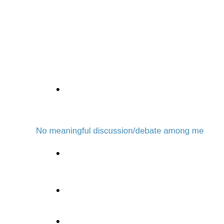•
No meaningful discussion/debate among me
•
•
•